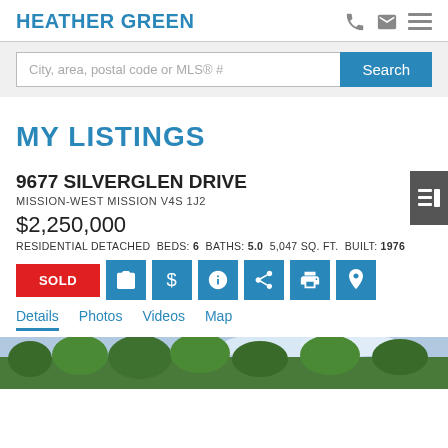HEATHER GREEN
City, area, postal code or MLS® #
MY LISTINGS
9677 SILVERGLEN DRIVE
MISSION-WEST MISSION V4S 1J2
$2,250,000
RESIDENTIAL DETACHED  BEDS: 6  BATHS: 5.0  5,047 SQ. FT.  BUILT: 1976
SOLD
Details  Photos  Videos  Map
[Figure (photo): Outdoor/landscape photo of property]